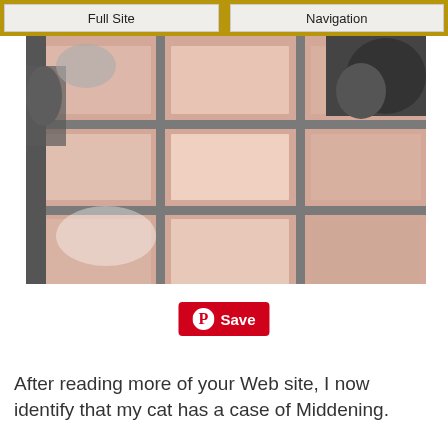Full Site | Navigation
[Figure (photo): Photo of tiled floor with pink/beige tiles and grey grout, with a cat visible in upper right and a mirror reflection on the left showing another cat or the same cat]
[Figure (other): Pinterest Save button (red button with Pinterest logo and Save text)]
After reading more of your Web site, I now identify that my cat has a case of Middening.